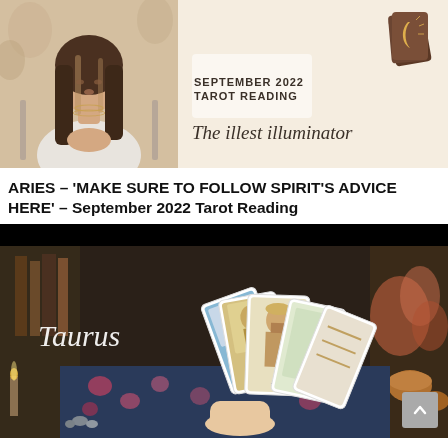[Figure (photo): Top banner showing a woman with long hair sitting with hands clasped on the left, and on the right a cream/tan background with text 'SEPTEMBER 2022 TAROT READING' and 'The illest illuminator' in script, plus a tarot card icon in the top-right corner.]
ARIES – 'MAKE SURE TO FOLLOW SPIRIT'S ADVICE HERE' – September 2022 Tarot Reading
[Figure (photo): A video thumbnail showing a hand holding a fan of tarot cards on a floral cloth surface with candles and mystical objects in the background. The word 'Taurus' is written in white script on the left side. The top portion of the thumbnail is dark/black.]